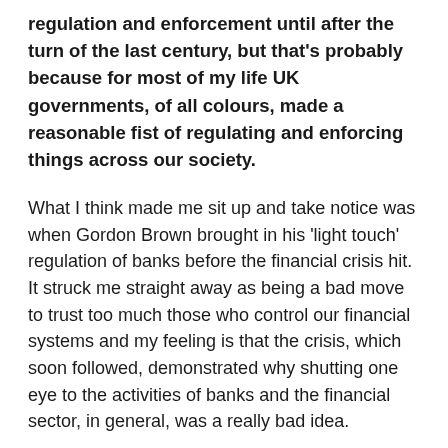regulation and enforcement until after the turn of the last century, but that's probably because for most of my life UK governments, of all colours, made a reasonable fist of regulating and enforcing things across our society.
What I think made me sit up and take notice was when Gordon Brown brought in his 'light touch' regulation of banks before the financial crisis hit. It struck me straight away as being a bad move to trust too much those who control our financial systems and my feeling is that the crisis, which soon followed, demonstrated why shutting one eye to the activities of banks and the financial sector, in general, was a really bad idea.
But deregulation and light touch/no-touch enforcement is